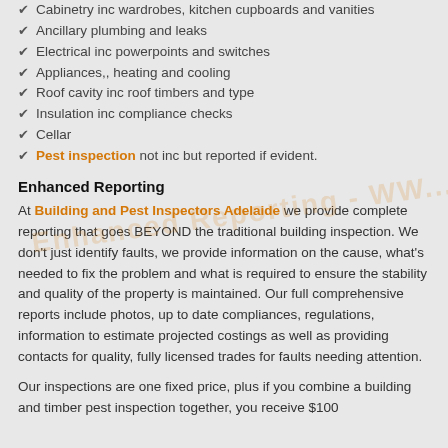Cabinetry inc wardrobes, kitchen cupboards and vanities
Ancillary plumbing and leaks
Electrical inc powerpoints and switches
Appliances,, heating and cooling
Roof cavity inc roof timbers and type
Insulation inc compliance checks
Cellar
Pest inspection not inc but reported if evident.
Enhanced Reporting
At Building and Pest Inspectors Adelaide we provide complete reporting that goes BEYOND the traditional building inspection. We don't just identify faults, we provide information on the cause, what's needed to fix the problem and what is required to ensure the stability and quality of the property is maintained. Our full comprehensive reports include photos, up to date compliances, regulations, information to estimate projected costings as well as providing contacts for quality, fully licensed trades for faults needing attention.
Our inspections are one fixed price, plus if you combine a building and timber pest inspection together, you receive $100